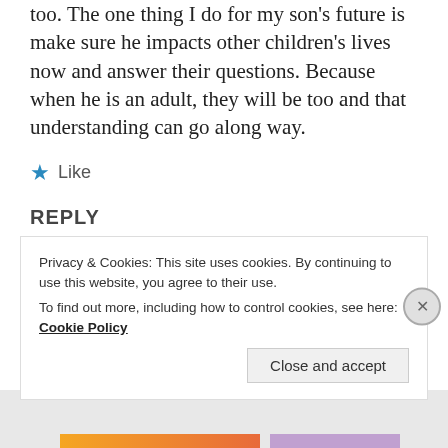too. The one thing I do for my son's future is make sure he impacts other children's lives now and answer their questions. Because when he is an adult, they will be too and that understanding can go along way.
★ Like
REPLY
Privacy & Cookies: This site uses cookies. By continuing to use this website, you agree to their use.
To find out more, including how to control cookies, see here: Cookie Policy
Close and accept